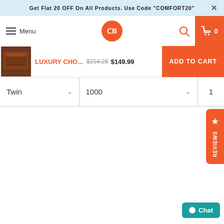Get Flat 20 OFF On All Products. Use Code "COMFORT20"
Menu | Logo | Search | Cart 0
money or extra comfort in the form of a li... ...comfortable sleeping experience to you.
LUXURY CHO...  $214.28  $149.99  ADD TO CART
Twin | 1000 | 1
[Figure (screenshot): Reviews side tab with star icon]
Chat